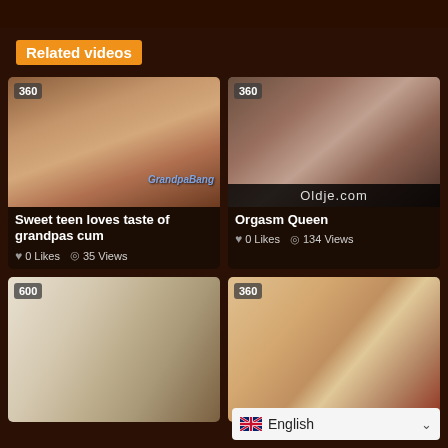Related videos
[Figure (screenshot): Video thumbnail showing close-up of person's face profile with watermark 'GrandpaBang']
Sweet teen loves taste of grandpas cum
0 Likes  35 Views
[Figure (screenshot): Video thumbnail showing two people with 'Oldje.com' watermark at the bottom]
Orgasm Queen
0 Likes  134 Views
[Figure (screenshot): Video thumbnail with badge 600, showing adult content scene]
[Figure (screenshot): Video thumbnail with badge 360, showing two people kissing]
English